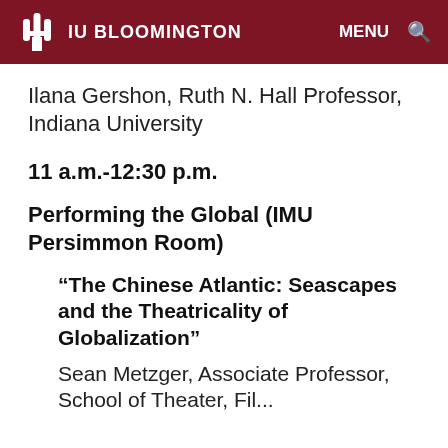IU BLOOMINGTON | MENU
Ilana Gershon, Ruth N. Hall Professor, Indiana University
11 a.m.-12:30 p.m.
Performing the Global (IMU Persimmon Room)
“The Chinese Atlantic: Seascapes and the Theatricality of Globalization”
Sean Metzger, Associate Professor, School of Theater, Fil...